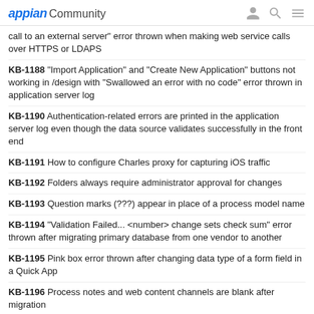appian Community
call to an external server" error thrown when making web service calls over HTTPS or LDAPS
KB-1188 "Import Application" and "Create New Application" buttons not working in /design with "Swallowed an error with no code" error thrown in application server log
KB-1190 Authentication-related errors are printed in the application server log even though the data source validates successfully in the front end
KB-1191 How to configure Charles proxy for capturing iOS traffic
KB-1192 Folders always require administrator approval for changes
KB-1193 Question marks (???) appear in place of a process model name
KB-1194 "Validation Failed... <number> change sets check sum" error thrown after migrating primary database from one vendor to another
KB-1195 Pink box error thrown after changing data type of a form field in a Quick App
KB-1196 Process notes and web content channels are blank after migration
KB-1197 Custom email senders send from old email addresses and do not use new values
KB-1198 "Qualified name not unique or temporary" error returned